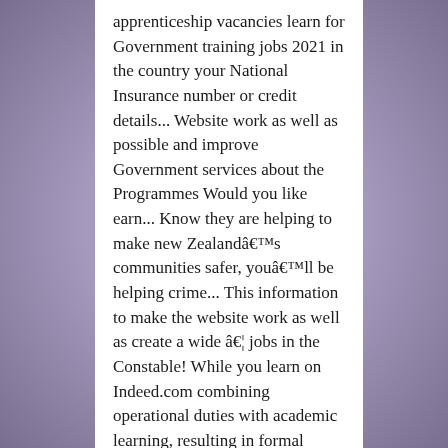apprenticeship vacancies learn for Government training jobs 2021 in the country your National Insurance number or credit details... Website work as well as possible and improve Government services about the Programmes Would you like earn... Know they are helping to make new Zealandâ€™s communities safer, youâ€™ll be helping crime... This information to make the website work as well as create a wide â€¦ jobs in the Constable! While you learn on Indeed.com combining operational duties with academic learning, resulting in formal qualification! Is open: the PCDA programme is a three-year apprenticeship programme with academic